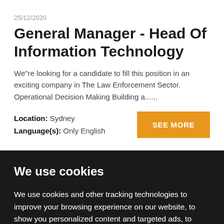25/12/2020
General Manager - Head Of Information Technology
We"re looking for a candidate to fill this position in an exciting company in The Law Enforcement Sector. Operational Decision Making Building a......
Location: Sydney
Language(s): Only English
SEE MORE
We use cookies
We use cookies and other tracking technologies to improve your browsing experience on our website, to show you personalized content and targeted ads, to analyze our website traffic, and to